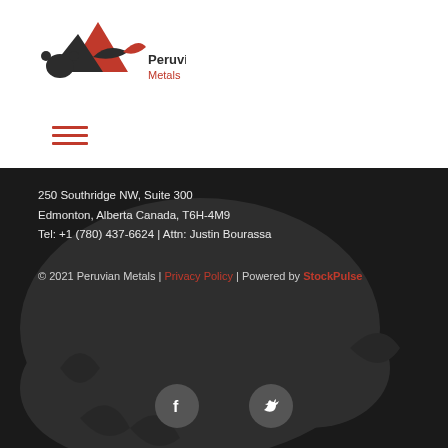[Figure (logo): Peruvian Metals logo with mountain/jaguar graphic and red and black text]
[Figure (other): Hamburger menu icon with three red horizontal lines]
250 Southridge NW, Suite 300
Edmonton, Alberta Canada, T6H-4M9
Tel: +1 (780) 437-6624 | Attn: Justin Bourassa
© 2021 Peruvian Metals | Privacy Policy | Powered by StockPulse
[Figure (other): Facebook icon circle]
[Figure (other): Twitter icon circle]